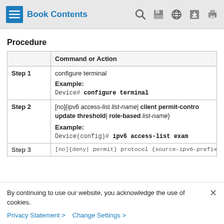Book Contents
Procedure
|  | Command or Action |
| --- | --- |
| Step 1 | configure terminal
Example:
Device# configure terminal |
| Step 2 | [no]{ipv6 access-list list-name| client permit-contro update threshold| role-based list-name}
Example:
Device(config)# ipv6 access-list exam |
| Step 3 | [no]{deny| permit} protocol {source ipv6-prefix/pref |
By continuing to use our website, you acknowledge the use of cookies.
Privacy Statement > Change Settings >